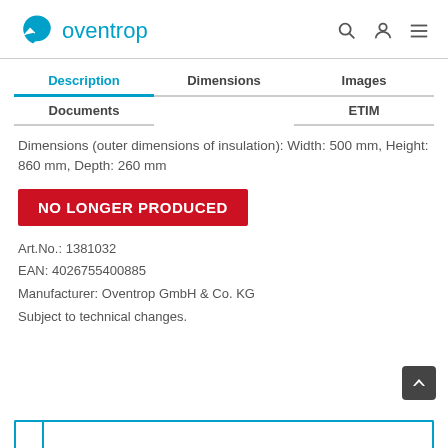oventrop
Description | Dimensions | Images | Documents | ETIM
Dimensions (outer dimensions of insulation): Width: 500 mm, Height: 860 mm, Depth: 260 mm
NO LONGER PRODUCED
Art.No.: 1381032
EAN: 4026755400885
Manufacturer: Oventrop GmbH & Co. KG
Subject to technical changes.